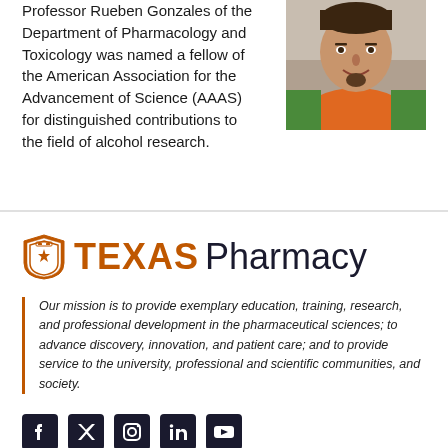Professor Rueben Gonzales of the Department of Pharmacology and Toxicology was named a fellow of the American Association for the Advancement of Science (AAAS) for distinguished contributions to the field of alcohol research.
[Figure (photo): Headshot photo of Professor Rueben Gonzales, a man smiling, wearing an orange shirt and colorful jacket]
[Figure (logo): University of Texas shield logo followed by TEXAS Pharmacy text in orange and dark blue]
Our mission is to provide exemplary education, training, research, and professional development in the pharmaceutical sciences; to advance discovery, innovation, and patient care; and to provide service to the university, professional and scientific communities, and society.
[Figure (infographic): Social media icons: Facebook, Twitter, Instagram, LinkedIn, YouTube]